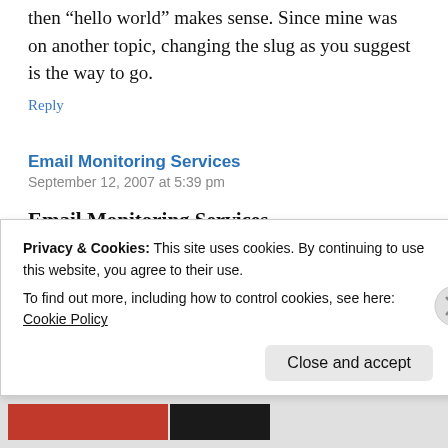then “hello world” makes sense. Since mine was on another topic, changing the slug as you suggest is the way to go.
Reply
Email Monitoring Services
September 12, 2007 at 5:39 pm
Email Monitoring Services
We are totally happy that you\'ve stumbled upon our web page about
Privacy & Cookies: This site uses cookies. By continuing to use this website, you agree to their use.
To find out more, including how to control cookies, see here: Cookie Policy
Close and accept